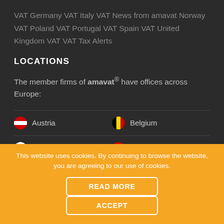VAT Germany VAT Italy VAT News from amavat Norway VAT Poland VAT Portugal VAT Spain VAT United Kingdom VAT VAT Tax Alerts
LOCATIONS
The member firms of amavat* have offices across Europe:
Austria
Belgium
Bulgaria
Croatia
This website uses cookies. By continuing to browse the website, you are agreeing to our use of cookies.
READ MORE
ACCEPT